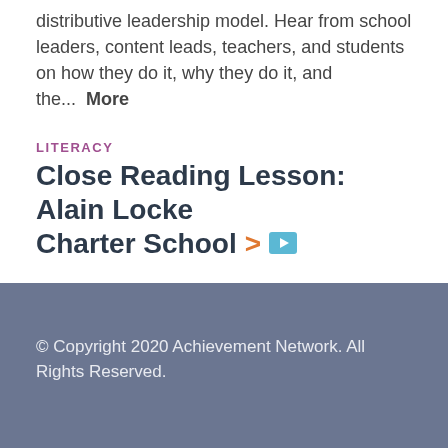distributive leadership model. Hear from school leaders, content leads, teachers, and students on how they do it, why they do it, and the...  More
LITERACY
Close Reading Lesson: Alain Locke Charter School >
Edited close reading lesson including relevant artifacts.  More
© Copyright 2020 Achievement Network. All Rights Reserved.